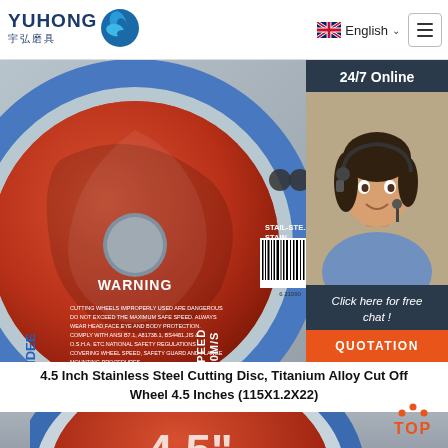[Figure (screenshot): Yuhong brand logo with wave icon and Chinese characters 宇弘磨具]
[Figure (screenshot): Navigation bar with English language selector (UK flag) and hamburger menu]
[Figure (photo): 4.5 inch stainless steel cutting disc (KEENDEE brand) showing silver and red disc with WARNING text, SPEED 80M/S label, and barcode]
[Figure (photo): Customer service representative with headset, 24/7 Online chat widget with QUOTATION button]
4.5 Inch Stainless Steel Cutting Disc, Titanium Alloy Cut Off Wheel 4.5 Inches (115X1.2X22)
[Figure (photo): Bottom portion of red and silver cutting disc showing 4.5" size marking]
[Figure (logo): TOP navigation button with orange dots above text]